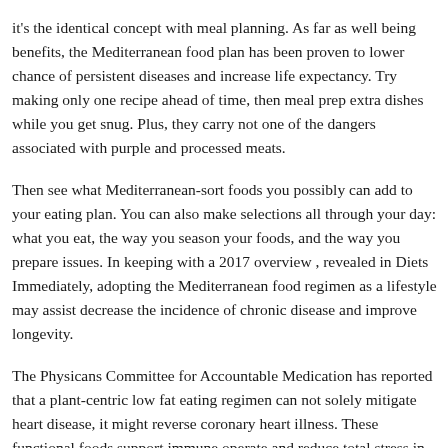It's the identical concept with meal planning. As far as well being benefits, the Mediterranean food plan has been proven to lower chance of persistent diseases and increase life expectancy. Try making only one recipe ahead of time, then meal prep extra dishes while you get snug. Plus, they carry not one of the dangers associated with purple and processed meats.
Then see what Mediterranean-sort foods you possibly can add to your eating plan. You can also make selections all through your day: what you eat, the way you season your foods, and the way you prepare issues. In keeping with a 2017 overview , revealed in Diets Immediately, adopting the Mediterranean food regimen as a lifestyle may assist decrease the incidence of chronic disease and improve longevity.
The Physicans Committee for Accountable Medication has reported that a plant-centric low fat eating regimen can not solely mitigate heart disease, it might reverse coronary heart illness. These functional foods support immune operate and reduce total stress in your physique, leading to sooner recovery from exercise. Focused Ketogenic Weight loss program (TKD): It is a variation the place you eat SKD, however intake a small quantity of quick-digesting carbs before workouts.